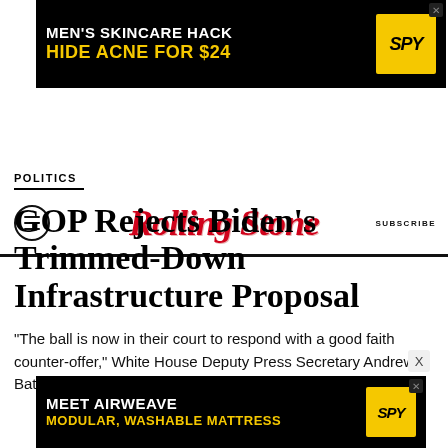[Figure (other): Advertisement banner: MEN'S SKINCARE HACK / HIDE ACNE FOR $24 with SPY logo on black and yellow background]
Rolling Stone — SUBSCRIBE
POLITICS
GOP Rejects Biden's Trimmed-Down Infrastructure Proposal
"The ball is now in their court to respond with a good faith counter-offer," White House Deputy Press Secretary Andrew Bates said
[Figure (other): Advertisement banner: MEET AIRWEAVE / MODULAR, WASHABLE MATTRESS with SPY logo on black and yellow background]